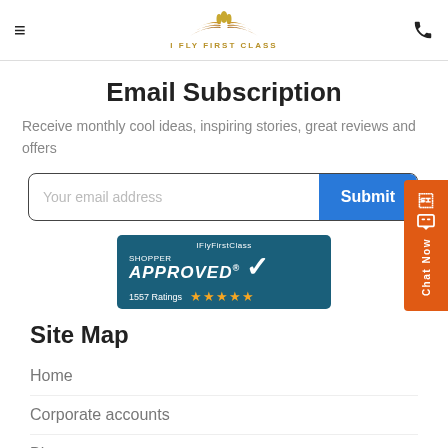I FLY FIRST CLASS
Email Subscription
Receive monthly cool ideas, inspiring stories, great reviews and offers
[Figure (screenshot): Email input form with placeholder 'Your email address' and a blue Submit button]
[Figure (logo): IFlyFirstClass Shopper Approved badge with 1557 Ratings and 5 gold stars]
Site Map
Home
Corporate accounts
Blog